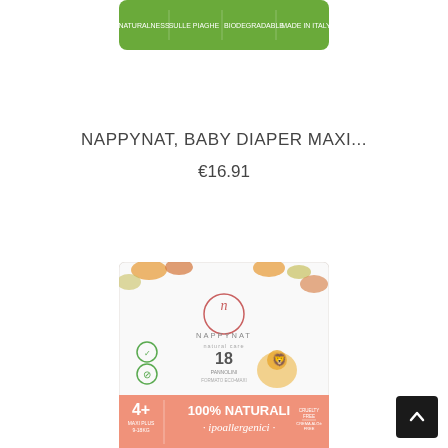[Figure (photo): Top portion of a green NAPPYNAT baby diaper product package with white text labels]
NAPPYNAT, BABY DIAPER MAXI...
€16.91
[Figure (photo): NAPPYNAT natural care baby diaper package with orange/salmon bottom band reading '100% NATURALI ipoallergenici', size 4+, 18 pannolini, with jungle animal illustrations on a white background with autumn leaf decorations]